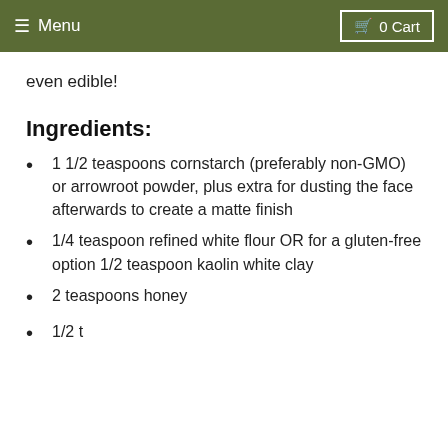≡ Menu   🛒 0 Cart
even edible!
Ingredients:
1 1/2 teaspoons cornstarch (preferably non-GMO) or arrowroot powder, plus extra for dusting the face afterwards to create a matte finish
1/4 teaspoon refined white flour OR for a gluten-free option 1/2 teaspoon kaolin white clay
2 teaspoons honey
1/2 t...